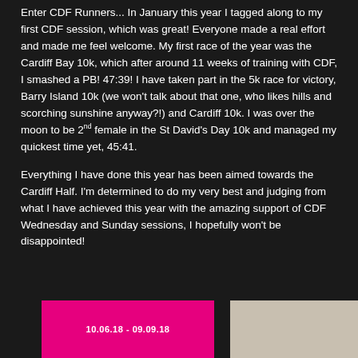Enter CDF Runners... In January this year I tagged along to my first CDF session, which was great! Everyone made a real effort and made me feel welcome. My first race of the year was the Cardiff Bay 10k, which after around 11 weeks of training with CDF, I smashed a PB! 47:39! I have taken part in the 5k race for victory, Barry Island 10k (we won't talk about that one, who likes hills and scorching sunshine anyway?!) and Cardiff 10k. I was over the moon to be 2nd female in the St David's Day 10k and managed my quickest time yet, 45:41.
Everything I have done this year has been aimed towards the Cardiff Half. I'm determined to do my very best and judging from what I have achieved this year with the amazing support of CDF Wednesday and Sunday sessions, I hopefully won't be disappointed!
[Figure (photo): Pink background image with white text showing dates 10.06.18 - 09.09.18]
[Figure (photo): Greyscale outdoor photo, possibly showing a running event or landscape]